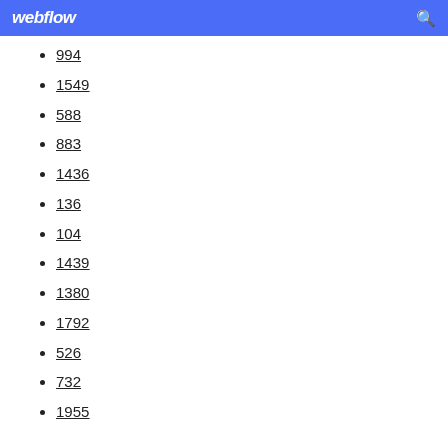webflow
994
1549
588
883
1436
136
104
1439
1380
1792
526
732
1955